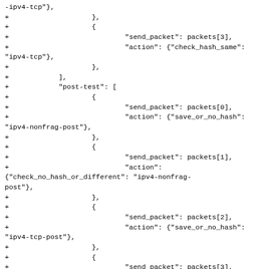Code diff showing JSON test configuration with send_packet and action fields including check_hash_same, save_or_no_hash, and check_no_hash_or_different actions for ipv4-tcp, ipv4-nonfrag-post, and ipv4-tcp-post.